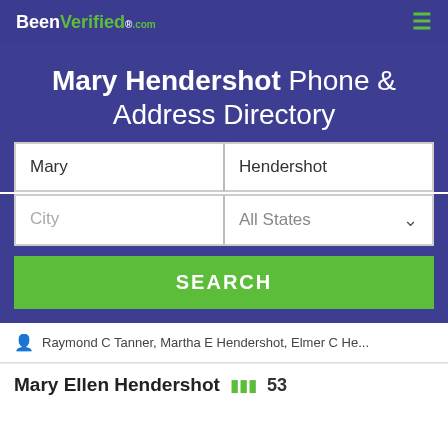BeenVerified.com
Mary Hendershot Phone & Address Directory
Mary | Hendershot
City | All States
SEARCH
Raymond C Tanner, Martha E Hendershot, Elmer C He...
Mary Ellen Hendershot  53